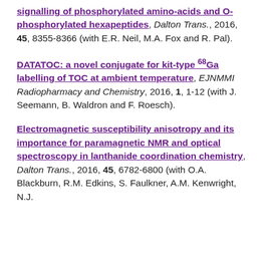signalling of phosphorylated amino-acids and O-phosphorylated hexapeptides, Dalton Trans., 2016, 45, 8355-8366 (with E.R. Neil, M.A. Fox and R. Pal).
DATATOC: a novel conjugate for kit-type 68Ga labelling of TOC at ambient temperature, EJNMMI Radiopharmacy and Chemistry, 2016, 1, 1-12 (with J. Seemann, B. Waldron and F. Roesch).
Electromagnetic susceptibility anisotropy and its importance for paramagnetic NMR and optical spectroscopy in lanthanide coordination chemistry, Dalton Trans., 2016, 45, 6782-6800 (with O.A. Blackburn, R.M. Edkins, S. Faulkner, A.M. Kenwright, N.J.